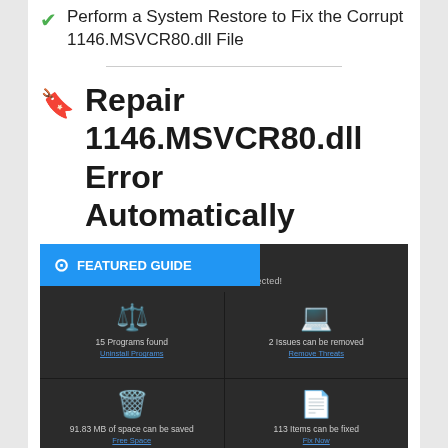Perform a System Restore to Fix the Corrupt 1146.MSVCR80.dll File
Repair 1146.MSVCR80.dll Error Automatically
[Figure (screenshot): A PC scan summary tool screenshot showing a dark-themed interface with a 'FEATURED GUIDE' blue banner overlay. The scan shows: 15 Programs found, 2 Issues can be removed, 91.83 MB of space can be saved, 113 Items can be fixed.]